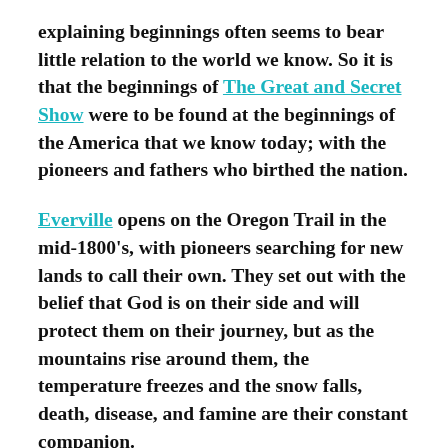explaining beginnings often seems to bear little relation to the world we know. So it is that the beginnings of The Great and Secret Show were to be found at the beginnings of the America that we know today; with the pioneers and fathers who birthed the nation.
Everville opens on the Oregon Trail in the mid-1800's, with pioneers searching for new lands to call their own. They set out with the belief that God is on their side and will protect them on their journey, but as the mountains rise around them, the temperature freezes and the snow falls, death, disease, and famine are their constant companion.
On the trail with the pioneers are Maeve O'Connell and her father, Harmon. The O'Connells are a strange pair,